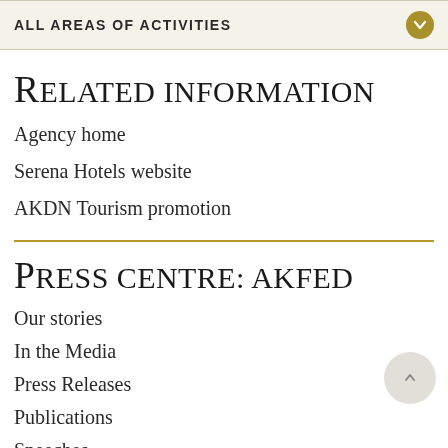ALL AREAS OF ACTIVITIES
Related information
Agency home
Serena Hotels website
AKDN Tourism promotion
Press centre: AKFED
Our stories
In the Media
Press Releases
Publications
Speeches